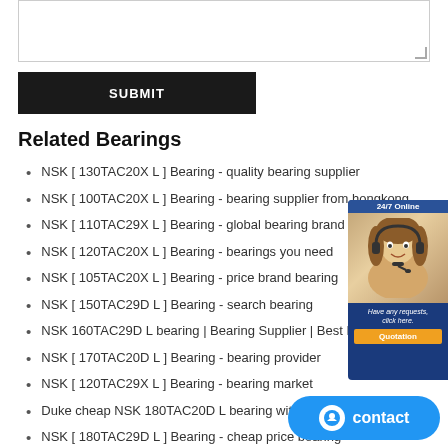[textarea input area]
SUBMIT
Related Bearings
NSK [ 130TAC20X L ] Bearing - quality bearing supplier
NSK [ 100TAC20X L ] Bearing - bearing supplier from hongkong
NSK [ 110TAC29X L ] Bearing - global bearing brand
NSK [ 120TAC20X L ] Bearing - bearings you need
NSK [ 105TAC20X L ] Bearing - price brand bearing
NSK [ 150TAC29D L ] Bearing - search bearing
NSK 160TAC29D L bearing | Bearing Supplier | Best Price
NSK [ 170TAC20D L ] Bearing - bearing provider
NSK [ 120TAC29X L ] Bearing - bearing market
Duke cheap NSK 180TAC20D L bearing with long life
NSK [ 180TAC29D L ] Bearing - cheap price bearing
NSK [ 150TAC20D L ] Bearing - top brand bearing
NSK [ 190TAC29D L ] Bearing - reliable bearing on
NSK [ 130TAC29X L ] Bearing - bearing in stock no
NSK [ 140TAC29D L ] Bearing - bearing store